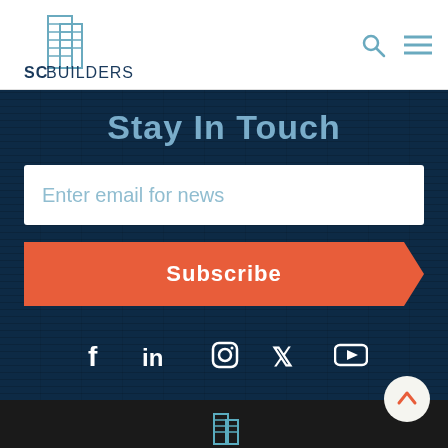[Figure (logo): SC Builders logo with stacked building icon and text SCBUILDERS]
[Figure (other): Search icon (magnifying glass) and hamburger menu icon in top right header]
Stay In Touch
Enter email for news
Subscribe
[Figure (other): Social media icons: Facebook, LinkedIn, Instagram, Twitter, YouTube]
[Figure (other): Back to top arrow button (circle with upward arrow)]
[Figure (logo): SC Builders footer logo (partial, building icon in blue/teal)]